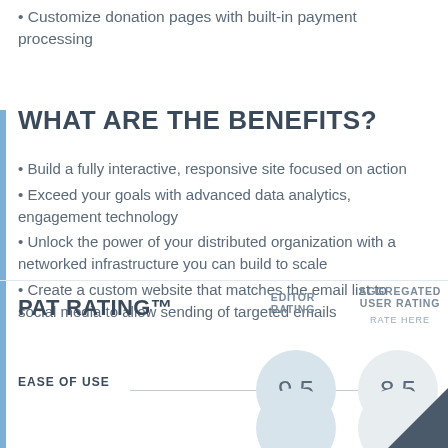• Customize donation pages with built-in payment processing
WHAT ARE THE BENEFITS?
• Build a fully interactive, responsive site focused on action
• Exceed your goals with advanced data analytics, engagement technology
• Unlock the power of your distributed organization with a networked infrastructure you can build to scale
• Create a custom website that matches the email list to social media to allow sending of targeted emails
PAT RATING™
EDITOR RATING
AGGREGATED USER RATING
RATE HERE
EASE OF USE
9.5
8.5